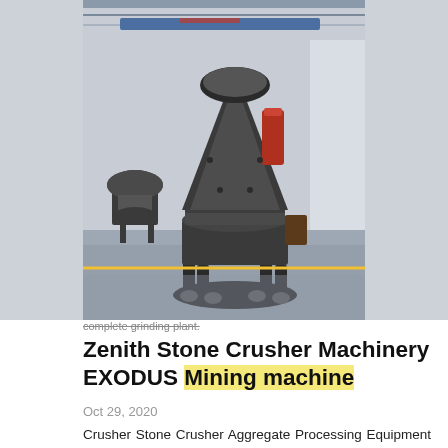[Figure (photo): Industrial stone crusher / cone crusher machine on a factory floor, with similar machinery visible in the background. Indoor manufacturing/warehouse setting with concrete floor and steel beams.]
complete grinding plant.
Zenith Stone Crusher Machinery EXODUS Mining machine
Oct 29, 2020
Crusher Stone Crusher Aggregate Processing Equipment For S. Lm series vertical milling machine which is developed and launched by zenith sets medium crushing drying grinding classifying and other functions as a whole being the ideal equipment in. More Details. Zenith Stone